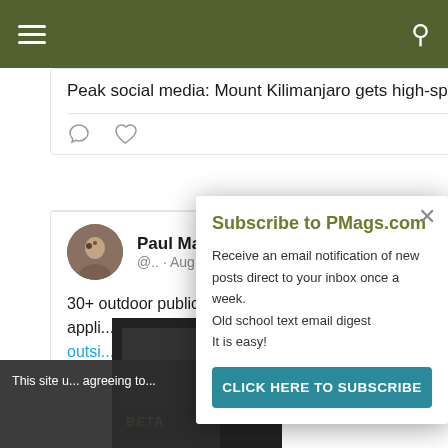Navigation bar with hamburger menu and search icon
Peak social media: Mount Kilimanjaro gets high-spee...
[Figure (screenshot): Tweet action icons: comment and heart/like]
[Figure (screenshot): Twitter user avatar - Paul Mag... profile photo]
Paul Mag... @.. · Aug 17
30+ outdoor publications, brands, companies, appli... one comm... outsi...
This site u... agreeing to...
[Figure (photo): Beta outdoor product thumbnail image]
Subscribe to PMags.com
Receive an email notification of new posts direct to your inbox once a week.
Old school text email digest
It is easy!
CLICK HERE TO SUBSCRIBE